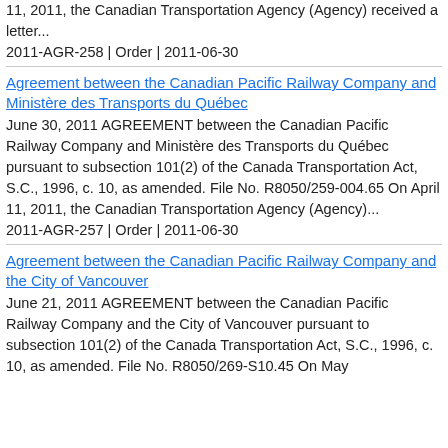11, 2011, the Canadian Transportation Agency (Agency) received a letter...
2011-AGR-258 | Order | 2011-06-30
Agreement between the Canadian Pacific Railway Company and Ministère des Transports du Québec
June 30, 2011 AGREEMENT between the Canadian Pacific Railway Company and Ministère des Transports du Québec pursuant to subsection 101(2) of the Canada Transportation Act, S.C., 1996, c. 10, as amended. File No. R8050/259-004.65 On April 11, 2011, the Canadian Transportation Agency (Agency)...
2011-AGR-257 | Order | 2011-06-30
Agreement between the Canadian Pacific Railway Company and the City of Vancouver
June 21, 2011 AGREEMENT between the Canadian Pacific Railway Company and the City of Vancouver pursuant to subsection 101(2) of the Canada Transportation Act, S.C., 1996, c. 10, as amended. File No. R8050/269-S10.45 On May